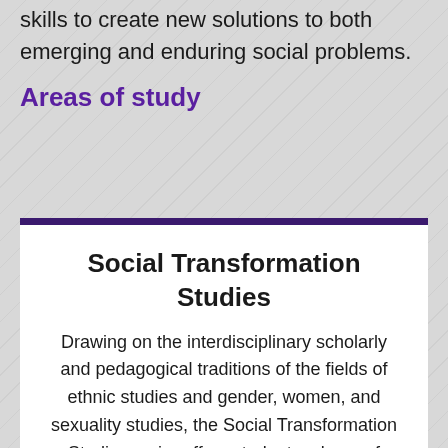skills to create new solutions to both emerging and enduring social problems.
Areas of study
Social Transformation Studies
Drawing on the interdisciplinary scholarly and pedagogical traditions of the fields of ethnic studies and gender, women, and sexuality studies, the Social Transformation Studies major offers students a base of knowledge and skills that will enable them to develop and